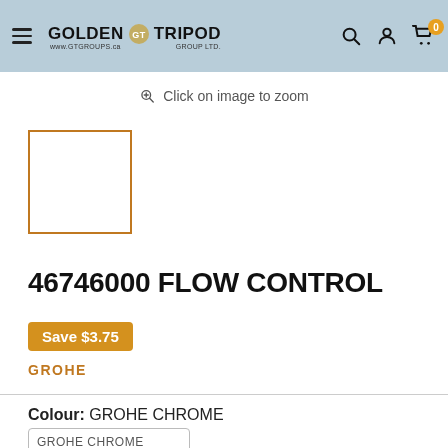GOLDEN TRIPOD GROUP LTD. www.gtgroups.ca
Click on image to zoom
[Figure (photo): Thumbnail image placeholder with orange border]
46746000 FLOW CONTROL
Save $3.75
GROHE
Colour: GROHE CHROME
GROHE CHROME